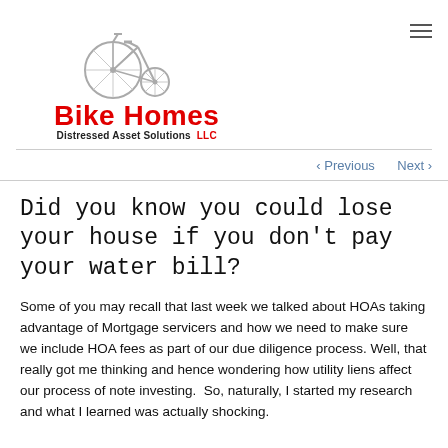[Figure (logo): Bike Homes Distressed Asset Solutions LLC logo with penny-farthing bicycle illustration]
< Previous   Next >
Did you know you could lose your house if you don't pay your water bill?
Some of you may recall that last week we talked about HOAs taking advantage of Mortgage servicers and how we need to make sure we include HOA fees as part of our due diligence process. Well, that really got me thinking and hence wondering how utility liens affect our process of note investing. So, naturally, I started my research and what I learned was actually shocking.